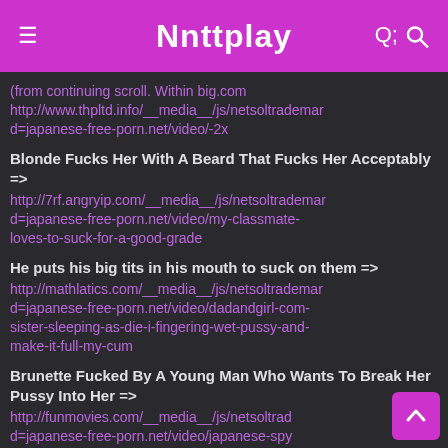Nnttplay
http://www.thpltd.info/__media__/js/netsoltrademark=japanese-free-porn.net/video/-2x
Blonde Fucks Her With A Beard That Fucks Her Acceptably => http://7rf.angryip.com/__media__/js/netsoltrademark=japanese-free-porn.net/video/my-classmate-loves-to-suck-for-a-good-grade
He puts his big tits in his mouth to suck on them => http://mathlatics.com/__media__/js/netsoltrademark=japanese-free-porn.net/video/dadandgirl-com-sister-sleeping-as-die-i-fingering-wet-pussy-and-make-it-full-my-cum
Brunette Fucked By A Young Man Who Wants To Break Her Pussy Into Her => http://funmovies.com/__media__/js/netsoltrademark=japanese-free-porn.net/video/japanese-spy-babe-gives-a-hot-double-blowjobs-uncensored